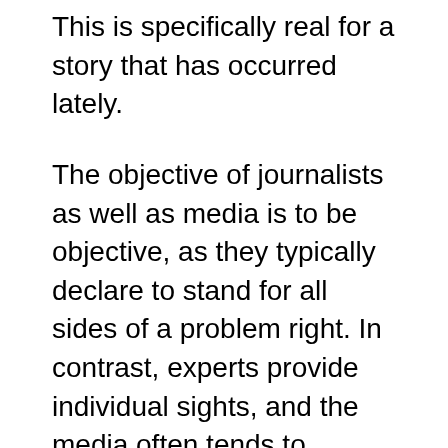This is specifically real for a story that has occurred lately.
The objective of journalists as well as media is to be objective, as they typically declare to stand for all sides of a problem right. In contrast, experts provide individual sights, and the media often tends to present the truths in a sterilized fashion. Accordingly, there are a number of federal government companies that enforce restrictions on reporters and also news media regarding predisposition. The UK federal government, as an example, enforces a rigorous impartiality demand for broadcasters. Subsequently, newspapers and also news programs are expected to continue to be objective, unless they clearly suggest content